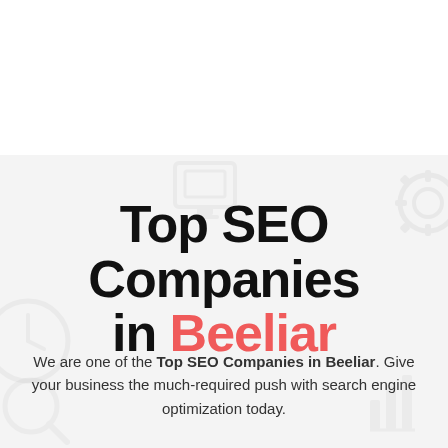Top SEO Companies in Beeliar
We are one of the Top SEO Companies in Beeliar. Give your business the much-required push with search engine optimization today.
We are also Top Ranked SEO Company, who help small